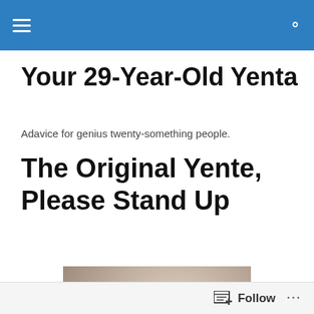Your 29-Year-Old Yenta
Adavice for genius twenty-something people.
The Original Yente, Please Stand Up
[Figure (photo): A smiling young woman with dark hair, wearing a grey sleeveless t-shirt with 'Technics' logo, holding a cup, photographed indoors.]
Follow